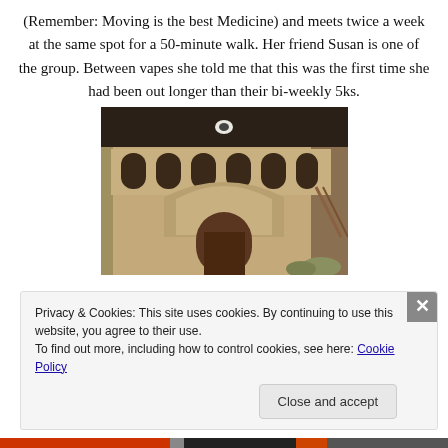(Remember: Moving is the best Medicine) and meets twice a week at the same spot for a 50-minute walk. Her friend Susan is one of the group. Between vapes she told me that this was the first time she had been out longer than their bi-weekly 5ks.
[Figure (photo): Interior architectural photograph showing ornate arched facade with multiple small arched windows in a row above a larger decorative arch and dark wooden door, set against a dark ceiling with a circular oculus or light fixture.]
Privacy & Cookies: This site uses cookies. By continuing to use this website, you agree to their use.
To find out more, including how to control cookies, see here: Cookie Policy
Close and accept